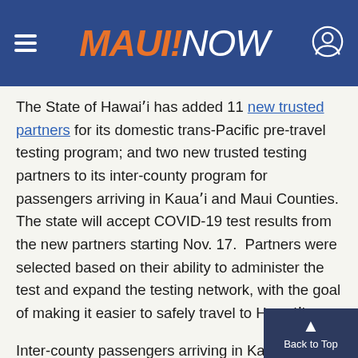MAUI NOW
The State of Hawai'i has added 11 new trusted partners for its domestic trans-Pacific pre-travel testing program; and two new trusted testing partners to its inter-county program for passengers arriving in Kaua'i and Maui Counties. The state will accept COVID-19 test results from the new partners starting Nov. 17.  Partners were selected based on their ability to administer the test and expand the testing network, with the goal of making it easier to safely travel to Hawai'i.
Inter-county passengers arriving in Kaua'i and Maui counties may bypass the mandatory 14-day quarantine if they take an FDA-authorized Nuc